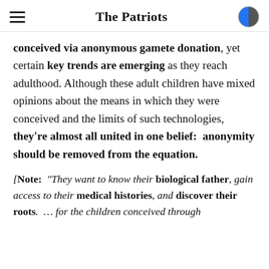The Patriots
conceived via anonymous gamete donation, yet certain key trends are emerging as they reach adulthood. Although these adult children have mixed opinions about the means in which they were conceived and the limits of such technologies, they're almost all united in one belief:  anonymity should be removed from the equation.
[Note:  "They want to know their biological father, gain access to their medical histories, and discover their roots.  … for the children conceived through